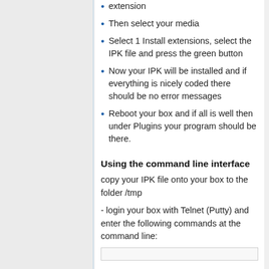extension
Then select your media
Select 1 Install extensions, select the IPK file and press the green button
Now your IPK will be installed and if everything is nicely coded there should be no error messages
Reboot your box and if all is well then under Plugins your program should be there.
Using the command line interface
copy your IPK file onto your box to the folder /tmp
- login your box with Telnet (Putty) and enter the following commands at the command line: